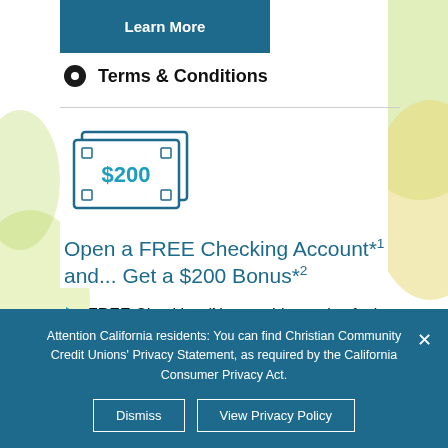Learn More
Terms & Conditions
[Figure (illustration): Icon of a $200 bill/banknote in teal/navy color]
Open a FREE Checking Account*1 and... Get a $200 Bonus*2
FREE Checking (No monthly service fee) / Debit Card
Attention California residents: You can find Christian Community Credit Unions' Privacy Statement, as required by the California Consumer Privacy Act.
Dismiss
View Privacy Policy